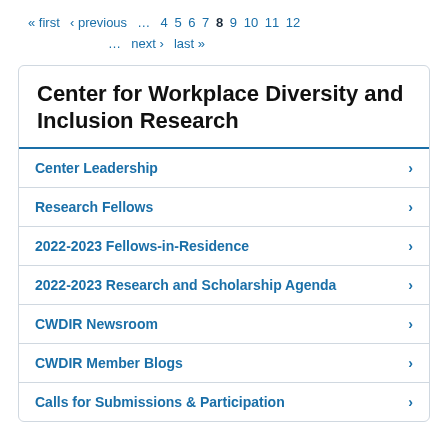« first  ‹ previous  …  4  5  6  7  8  9  10  11  12  …  next ›  last »
Center for Workplace Diversity and Inclusion Research
Center Leadership
Research Fellows
2022-2023 Fellows-in-Residence
2022-2023 Research and Scholarship Agenda
CWDIR Newsroom
CWDIR Member Blogs
Calls for Submissions & Participation